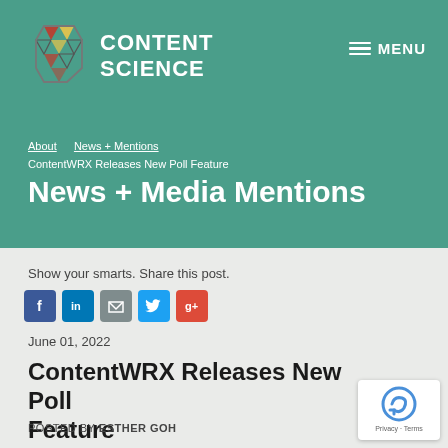[Figure (logo): Content Science logo with geometric hexagon icon and CONTENT SCIENCE text in white on teal background]
MENU
About > News + Mentions > ContentWRX Releases New Poll Feature
News + Media Mentions
Show your smarts. Share this post.
[Figure (infographic): Social share buttons: Facebook (blue), LinkedIn (blue), Email (grey), Twitter (blue), Google+ (red)]
June 01, 2022
ContentWRX Releases New Poll Feature
POSTED BY ESTHER GOH